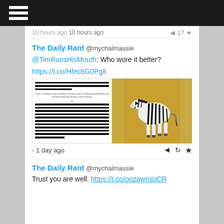10 hours ago
The Daily Rant @mychalmassie
@TimRunsHisMouth: Who wore it better?
https://t.co/Hfec6G0Pg8
[Figure (photo): Split image: left side shows a heavily redacted document with black lines; right side shows a zebra standing in dry grass]
- 1 day ago
The Daily Rant @mychalmassie
Trust you are well. https://t.co/oozpwmpiCR